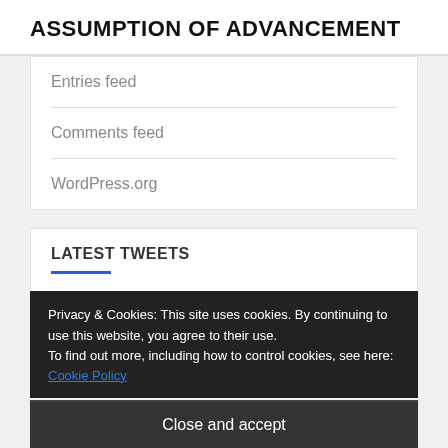ASSUMPTION OF ADVANCEMENT
Entries feed
Comments feed
WordPress.org
LATEST TWEETS
My Tweets
Privacy & Cookies: This site uses cookies. By continuing to use this website, you agree to their use.
To find out more, including how to control cookies, see here: Cookie Policy
Close and accept